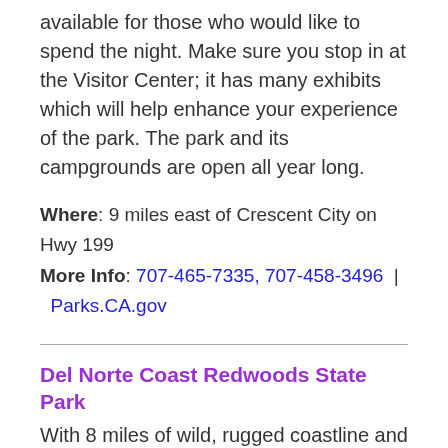available for those who would like to spend the night. Make sure you stop in at the Visitor Center; it has many exhibits which will help enhance your experience of the park. The park and its campgrounds are open all year long.
Where: 9 miles east of Crescent City on Hwy 199
More Info: 707-465-7335, 707-458-3496 | Parks.CA.gov
Del Norte Coast Redwoods State Park
With 8 miles of wild, rugged coastline and acres upon acres of old-growth redwoods, Del Norte Coast Redwoods State Park is a wonderful place to spend the day. Tall trees tower above, allowing thin rays of light to shine through. Adjacent to the Pacific Ocean, there is a mountain range that runs north to south.